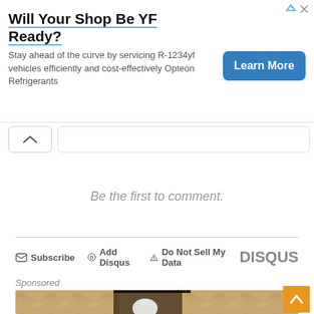[Figure (screenshot): Advertisement banner for Opteon Refrigerants with title 'Will Your Shop Be YF Ready?', subtitle text, and a blue 'Learn More' button. Small ad icons (arrow and X) in top-right corner.]
[Figure (screenshot): UI element showing a collapse/chevron-up button with a rounded bar beside it, representing a collapsed comment thread.]
Be the first to comment.
Subscribe   Add Disqus   Do Not Sell My Data   DISQUS
Sponsored
[Figure (photo): Photo of a dark metal outdoor wall lamp with a white light bulb installed, mounted on a rough textured stucco wall in warm tones.]